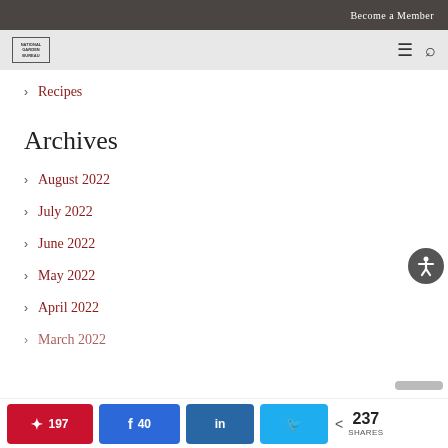Become a Member
[Figure (logo): National Garden Bureau logo in nav bar]
Recipes
Archives
August 2022
July 2022
June 2022
May 2022
April 2022
March 2022
197  40  237 SHARES